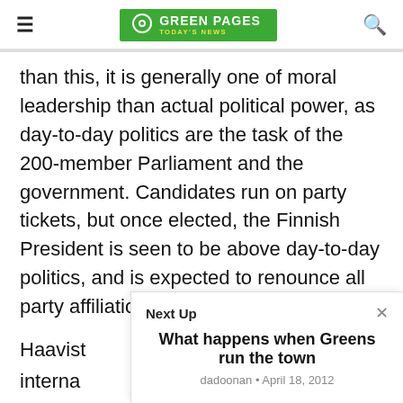GREEN PAGES TODAY'S NEWS
than this, it is generally one of moral leadership than actual political power, as day-to-day politics are the task of the 200-member Parliament and the government. Candidates run on party tickets, but once elected, the Finnish President is seen to be above day-to-day politics, and is expected to renounce all party affiliations.
Haavist
interna
other th
Ministe
Haavist
Next Up
What happens when Greens run the town
dadoonan • April 18, 2012